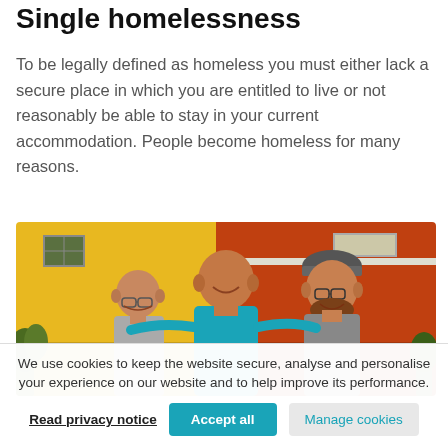Single homelessness
To be legally defined as homeless you must either lack a secure place in which you are entitled to live or not reasonably be able to stay in your current accommodation. People become homeless for many reasons.
[Figure (photo): Three men smiling outdoors in front of colourful yellow and red buildings, two bald and one with a beanie hat and beard.]
We use cookies to keep the website secure, analyse and personalise your experience on our website and to help improve its performance.
Read privacy notice
Accept all
Manage cookies